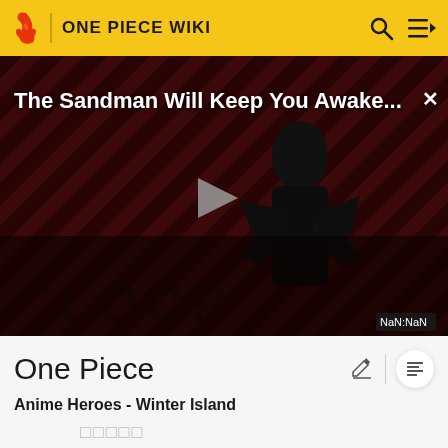ONE PIECE WIKI
[Figure (screenshot): Video thumbnail with diagonal red/dark stripes background, figure of a man in black clothing. Title overlay reads 'The Sandman Will Keep You Awake...' with a play button in the center. THE LOOP logo at bottom. Duration shows NaN:NaN.]
One Piece
Anime Heroes - Winter Island
□□□□□